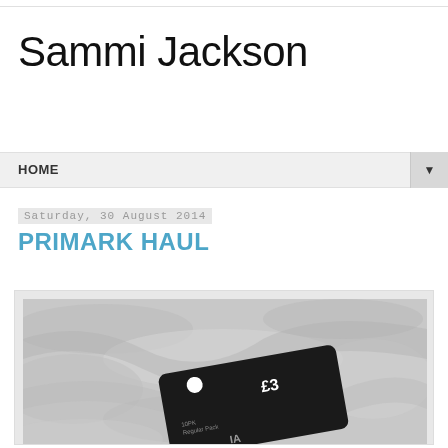Sammi Jackson
HOME
Saturday, 30 August 2014
PRIMARK HAUL
[Figure (photo): A Primark price tag showing £3 on a black card, placed on grey fabric background. Text on tag reads '10PK Regular/Regular Pack' and partial logo visible.]